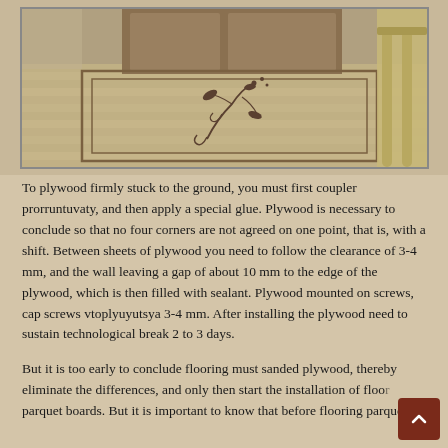[Figure (photo): Interior hallway with decorative parquet floor featuring a floral arabesque inlay pattern in a light wood border, with wooden stair railing visible on the right side.]
To plywood firmly stuck to the ground, you must first coupler prorruntuvaty, and then apply a special glue. Plywood is necessary to conclude so that no four corners are not agreed on one point, that is, with a shift. Between sheets of plywood you need to follow the clearance of 3-4 mm, and the wall leaving a gap of about 10 mm to the edge of the plywood, which is then filled with sealant. Plywood mounted on screws, cap screws vtoplyuyutsya 3-4 mm. After installing the plywood need to sustain technological break 2 to 3 days.
But it is too early to conclude flooring must sanded plywood, thereby eliminate the differences, and only then start the installation of floor parquet boards. But it is important to know that before flooring parquet